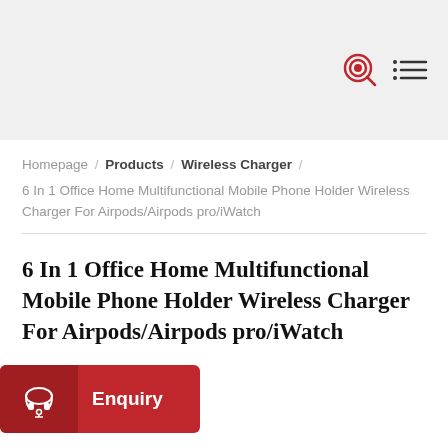[Search icon] [Menu icon]
Homepage / Products / Wireless Charger / 6 In 1 Office Home Multifunctional Mobile Phone Holder Wireless Charger For Airpods/Airpods pro/iWatch
6 In 1 Office Home Multifunctional Mobile Phone Holder Wireless Charger For Airpods/Airpods pro/iWatch
[Figure (other): Red Enquiry button with headset icon]
Main Features